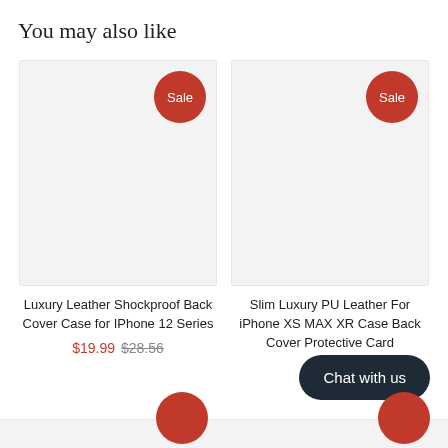You may also like
[Figure (photo): Product image placeholder with Sale badge - Luxury Leather Shockproof Back Cover Case for IPhone 12 Series]
Luxury Leather Shockproof Back Cover Case for IPhone 12 Series
$19.99 $28.56
[Figure (photo): Product image placeholder with Sale badge - Slim Luxury PU Leather For iPhone XS MAX XR Case Back Cover Protective Card]
Slim Luxury PU Leather For iPhone XS MAX XR Case Back Cover Protective Card
Chat with us